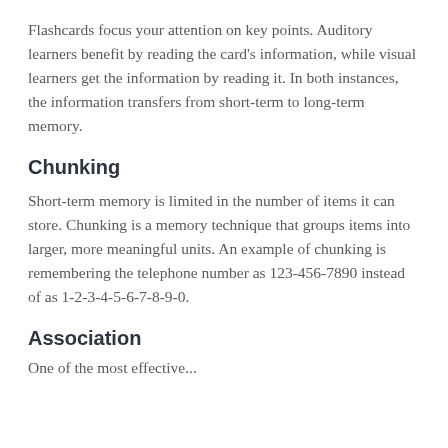Flashcards focus your attention on key points. Auditory learners benefit by reading the card's information, while visual learners get the information by reading it. In both instances, the information transfers from short-term to long-term memory.
Chunking
Short-term memory is limited in the number of items it can store. Chunking is a memory technique that groups items into larger, more meaningful units. An example of chunking is remembering the telephone number as 123-456-7890 instead of as 1-2-3-4-5-6-7-8-9-0.
Association
One of the most effective...